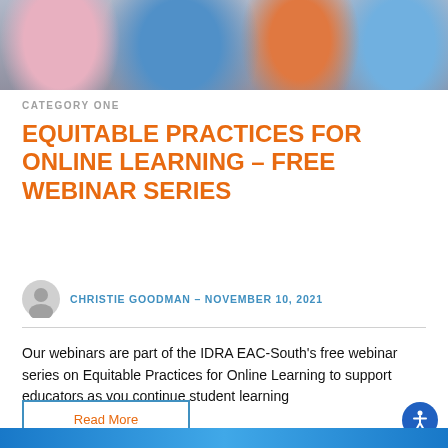[Figure (photo): Photo of students or young people with colorful clothing and backpacks, cropped to show torsos]
CATEGORY ONE
EQUITABLE PRACTICES FOR ONLINE LEARNING – FREE WEBINAR SERIES
CHRISTIE GOODMAN – NOVEMBER 10, 2021
Our webinars are part of the IDRA EAC-South's free webinar series on Equitable Practices for Online Learning to support educators as you continue student learning
Read More
[Figure (photo): Photo at bottom of page, partially visible, showing blue tones]